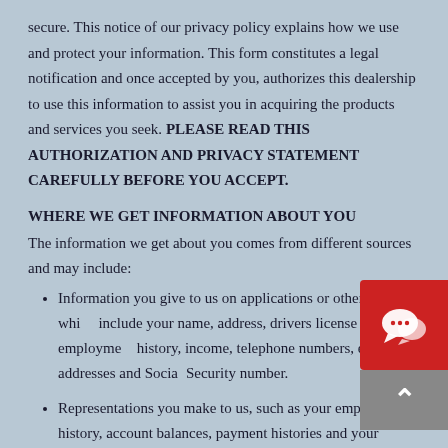secure. This notice of our privacy policy explains how we use and protect your information. This form constitutes a legal notification and once accepted by you, authorizes this dealership to use this information to assist you in acquiring the products and services you seek. PLEASE READ THIS AUTHORIZATION AND PRIVACY STATEMENT CAREFULLY BEFORE YOU ACCEPT.
WHERE WE GET INFORMATION ABOUT YOU
The information we get about you comes from different sources and may include:
Information you give to us on applications or other forms, which include your name, address, drivers license number, employment history, income, telephone numbers, e-mail addresses and Social Security number.
Representations you make to us, such as your employment history, account balances, payment histories and your relationships with other persons or entities you have listed as references.
Information from your transactions with our affiliated companies,